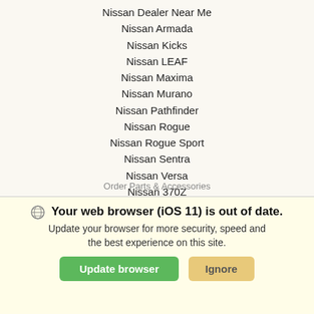Nissan Dealer Near Me
Nissan Armada
Nissan Kicks
Nissan LEAF
Nissan Maxima
Nissan Murano
Nissan Pathfinder
Nissan Rogue
Nissan Rogue Sport
Nissan Sentra
Nissan Versa
Nissan 370Z
Nissan Altima
Nissan Frontier
Nissan Titan
SERVICE & PARTS
Schedule Service
Service Specials
Order Parts & Accessories
Nissan Brakes
Nissan Battery
Nissan Tires
Your web browser (iOS 11) is out of date. Update your browser for more security, speed and the best experience on this site.